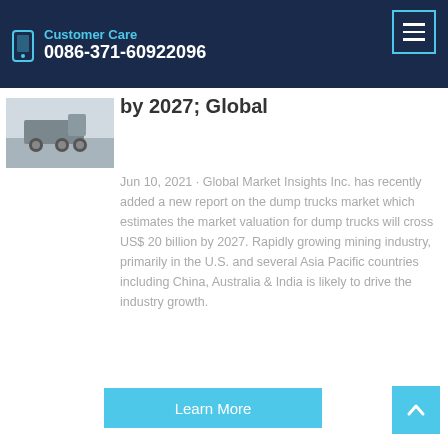Customer Care 0086-371-60922096
by 2027; Global
Jun 10, 2021 · Global Market Insights Inc. has recently added a new report on the dump trucks market which estimates the market valuation for dump trucks will cross US$ 20 billion by 2027. Rapidly growing mining industry, primarily in the U.S. and several Asia Pacific countries including China, Australia & India is likely to drive the industry growth.
[Figure (photo): Thumbnail image of dump trucks]
Learn More